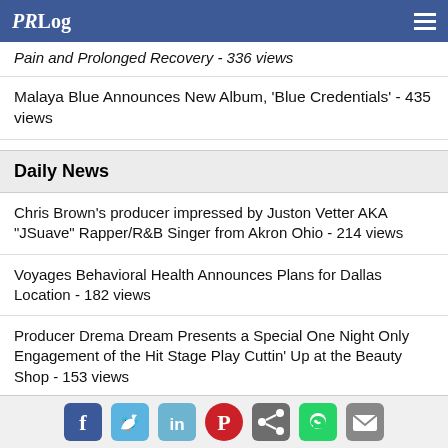PRLog
Pain and Prolonged Recovery - 336 views
Malaya Blue Announces New Album, 'Blue Credentials' - 435 views
Daily News
Chris Brown's producer impressed by Juston Vetter AKA "JSuave" Rapper/R&B Singer from Akron Ohio - 214 views
Voyages Behavioral Health Announces Plans for Dallas Location - 182 views
Producer Drema Dream Presents a Special One Night Only Engagement of the Hit Stage Play Cuttin' Up at the Beauty Shop - 153 views
Tyler's Liberty Hall Welcomes "Las Vegas Singer of the Year" Corrie Sachs for Her Stunning Tribute to Reba McEntire - 121 views
Social share icons: Facebook, Twitter, LinkedIn, Pinterest, Share, WhatsApp, Email